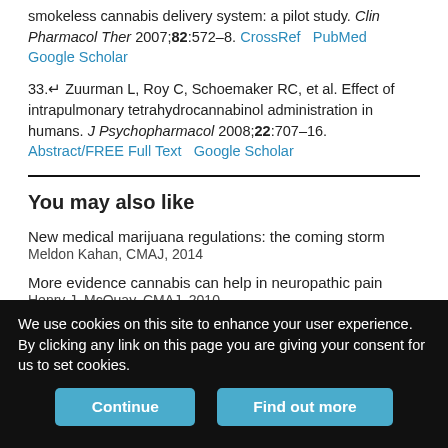smokeless cannabis delivery system: a pilot study. Clin Pharmacol Ther 2007;82:572–8. CrossRef PubMed Google Scholar
33. Zuurman L, Roy C, Schoemaker RC, et al. Effect of intrapulmonary tetrahydrocannabinol administration in humans. J Psychopharmacol 2008;22:707–16. Abstract/FREE Full Text Google Scholar
You may also like
New medical marijuana regulations: the coming storm
Meldon Kahan, CMAJ, 2014
More evidence cannabis can help in neuropathic pain
Henry J. McQuay, CMAJ, 2010
Smoked cannabis for spasticity in multiple sclerosis: a randomized,
We use cookies on this site to enhance your user experience. By clicking any link on this page you are giving your consent for us to set cookies.